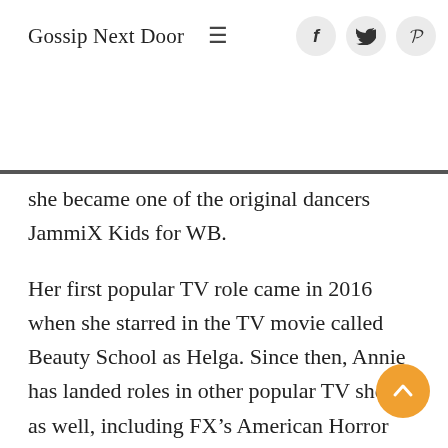Gossip Next Door
she became one of the original dancers JammiX Kids for WB.
Her first popular TV role came in 2016 when she starred in the TV movie called Beauty School as Helga. Since then, Annie has landed roles in other popular TV shows as well, including FX’s American Horror Story, Showtime’s Shameless, Starz’s Vida, and Amazon’s Good Girls.
Annie was then cast in ABC’s comedy pilot Bucktown in the role of Jessie. Annie’s upcoming